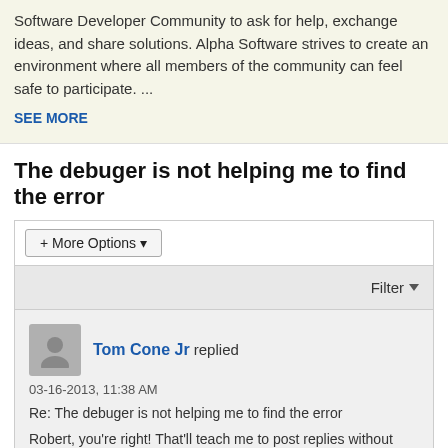Software Developer Community to ask for help, exchange ideas, and share solutions. Alpha Software strives to create an environment where all members of the community can feel safe to participate. ...
SEE MORE
The debuger is not helping me to find the error
+ More Options
Filter
Tom Cone Jr replied
03-16-2013, 11:38 AM
Re: The debuger is not helping me to find the error
Robert, you're right! That'll teach me to post replies without finishing my first cup of coffee. I'll edit the original. Sorry for the mixup.